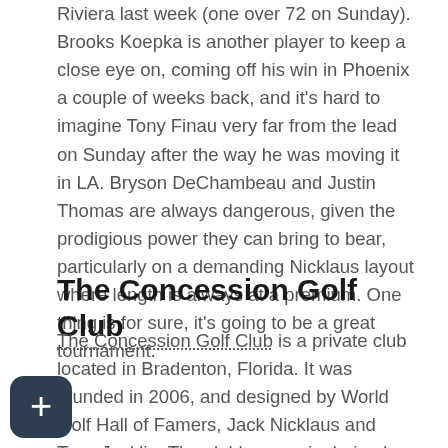Riviera last week (one over 72 on Sunday). Brooks Koepka is another player to keep a close eye on, coming off his win in Phoenix a couple of weeks back, and it's hard to imagine Tony Finau very far from the lead on Sunday after the way he was moving it in LA. Bryson DeChambeau and Justin Thomas are always dangerous, given the prodigious power they can bring to bear, particularly on a demanding Nicklaus layout where length is always at a premium. One thing is for sure, it's going to be a great tournament.
The Concession Golf Club
The Concession Golf Club is a private club located in Bradenton, Florida. It was founded in 2006, and designed by World Golf Hall of Famers, Jack Nicklaus and Tony Jacklin. The club's name is derived from one of the most iconic moments in golf history, when Jack Nicklaus